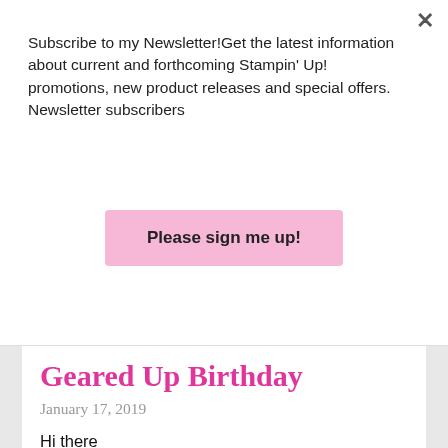Subscribe to my Newsletter!Get the latest information about current and forthcoming Stampin' Up! promotions, new product releases and special offers. Newsletter subscribers
Please sign me up!
Geared Up Birthday
January 17, 2019
Hi there
I have a masculine card to share today - a bit of a rarity around here, lol.  I've used the new Geared Up Garage Bundle from the 2019 Occasions Catalogue. It is great to have a coordinating suite of products that should appeal to a male of any age.